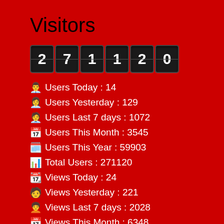Visitors
[Figure (other): Odometer-style visitor counter displaying 271120]
Users Today : 14
Users Yesterday : 129
Users Last 7 days : 1072
Users This Month : 3545
Users This Year : 59903
Total Users : 271120
Views Today : 24
Views Yesterday : 221
Views Last 7 days : 2028
Views This Month : 6348
Views This Year : 138320
Total views : 666975
Who's Online : 0
Your IP Address : 44.207.124.84
Server Time : 2022-08-30